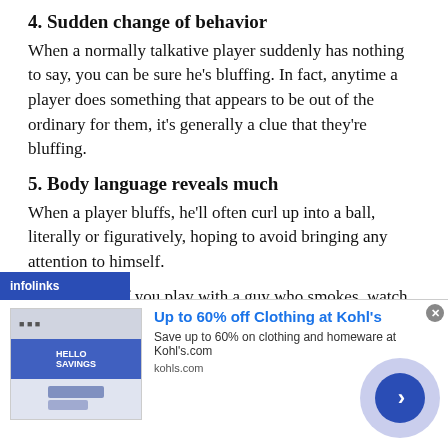4. Sudden change of behavior
When a normally talkative player suddenly has nothing to say, you can be sure he's bluffing. In fact, anytime a player does something that appears to be out of the ordinary for them, it's generally a clue that they're bluffing.
5. Body language reveals much
When a player bluffs, he'll often curl up into a ball, literally or figuratively, hoping to avoid bringing any attention to himself.
For instance, if you play with a guy who smokes, watch the way he pulls a drag from his cigarette after he makes a bet. If [infolinks] a deep drag and blows out a big cloud of smoke, it's
[Figure (screenshot): Infolinks ad banner and Kohl's advertisement overlay at bottom of page]